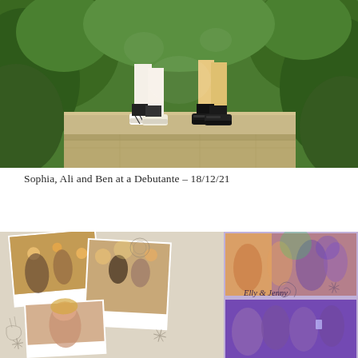[Figure (photo): Cropped photo showing the lower legs and feet of two people standing on stone steps, wearing sneakers (one pair white Adidas, one pair black), surrounded by green foliage.]
Sophia, Ali and Ben at a Debutante – 18/12/21
[Figure (photo): Collage of polaroid-style photos from a formal event/debutante, showing couples dancing and socializing, with decorative script text 'fairy lights' and 'Elly & Jenny' overlaid, star doodles, and people dancing under colorful lights.]